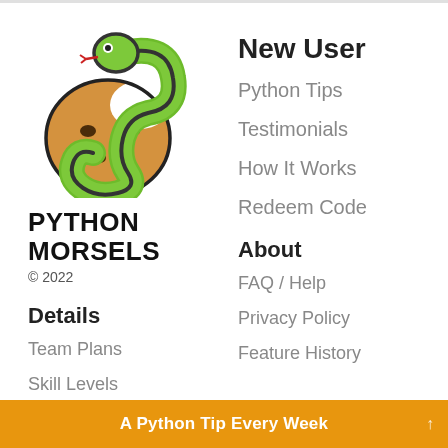[Figure (logo): Python Morsels logo: cartoon green snake coiled around a chocolate chip cookie]
PYTHON MORSELS
© 2022
New User
Python Tips
Testimonials
How It Works
Redeem Code
Details
About
Team Plans
FAQ / Help
Skill Levels
Privacy Policy
Pricing
Feature History
A Python Tip Every Week